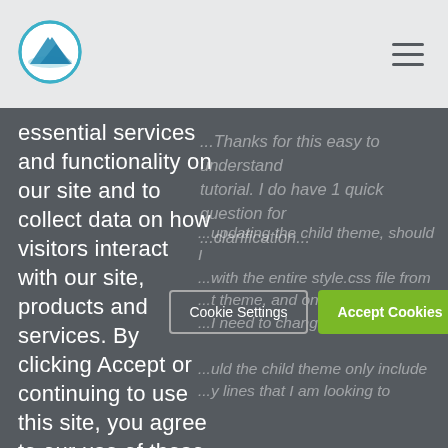[Figure (logo): Circular logo with mountain/landscape icon in blue and white on light grey header background]
[Figure (other): Hamburger menu icon (three horizontal lines) in the top right of header]
essential services and functionality on our site and to collect data on how visitors interact with our site, products and services. By clicking Accept or continuing to use this site, you agree to our use of these tools for advertising and analytics
...Thanks for this easy to understand tutorial. I do have 1 quick question for ...clarification... ...updating the child theme, should I ...with the entire style.css file from ...t theme, and only modify the ...I need to change? ...uld the child theme only include ...y lines that I am looking to
[Figure (other): Cookie consent dialog with two buttons: 'Cookie Settings' (outlined) and 'Accept Cookies' (green filled)]